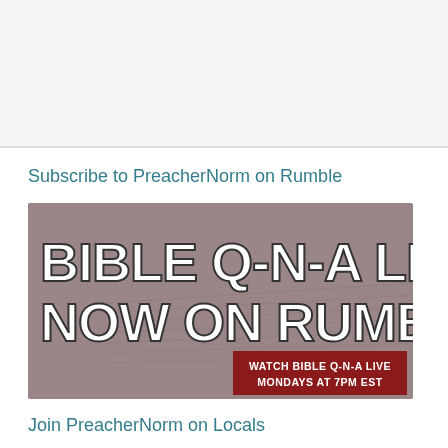Subscribe to PreacherNorm on Rumble
[Figure (illustration): Promotional banner image for Bible Q-N-A Live on Rumble, showing large white bold text 'BIBLE Q-N-A LIVE NOW ON RUMBLE!' over a muted background image of a Bible page, with a red rectangle in the lower right reading 'WATCH BIBLE Q-N-A LIVE MONDAYS AT 7PM EST']
Join PreacherNorm on Locals